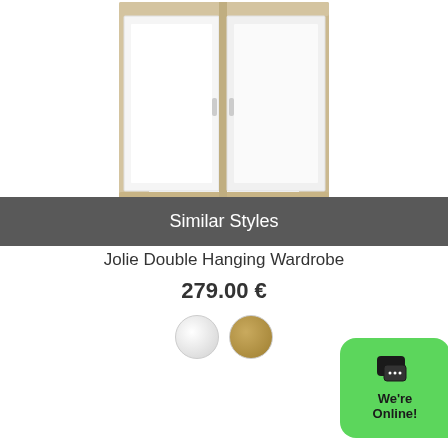[Figure (photo): A two-door wardrobe with white front panels and light oak/beige sides, photographed on white background.]
Similar Styles
Jolie Double Hanging Wardrobe
279.00 €
[Figure (other): Two color swatches: white/light grey and golden oak.]
We're Online!